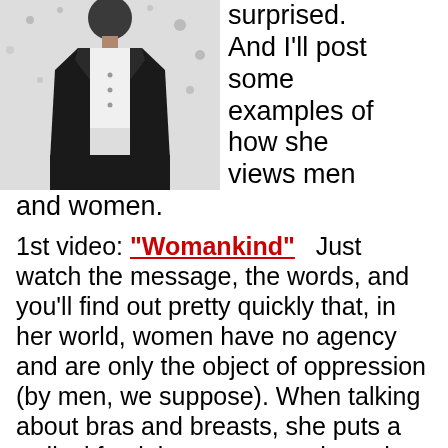[Figure (photo): Black and white photo of a person wearing a black jacket and white shirt, standing outdoors with a blurred snowy or light-colored background.]
surprised. And I'll post some examples of how she views men and women.
1st video: "Womankind"  Just watch the message, the words, and you'll find out pretty quickly that, in her world, women have no agency and are only the object of oppression (by men, we suppose). When talking about bras and breasts, she puts a radical feminist message - through words - on top of the image and sound.
2nd video: "You think you're a man"